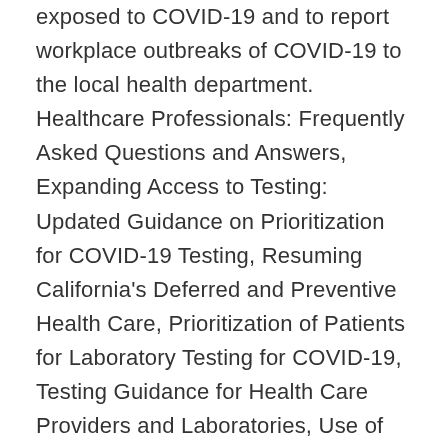exposed to COVID-19 and to report workplace outbreaks of COVID-19 to the local health department. Healthcare Professionals: Frequently Asked Questions and Answers, Expanding Access to Testing: Updated Guidance on Prioritization for COVID-19 Testing, Resuming California's Deferred and Preventive Health Care, Prioritization of Patients for Laboratory Testing for COVID-19, Testing Guidance for Health Care Providers and Laboratories, Use of Personal Protective Equipment during COVID-19 Outbreak, Guidance documents for health care facilities, including long-term care facilities, Outpatient Healthcare Facility Infection Control Recommendations for Suspect COVID-19 Patients, Guidance for Procedures and Transfer of Deceased Persons with Confirmed or Suspected COVID-19, Self-isolation Instructions for Individuals Who Have or Likely Have COVID-19, Self-quarantine